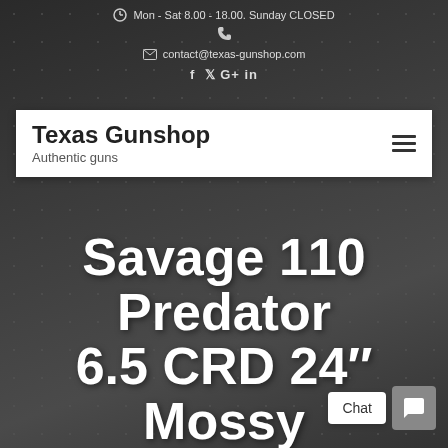Mon - Sat 8.00 - 18.00. Sunday CLOSED
contact@texas-gunshop.com
f y G+ in
Texas Gunshop
Authentic guns
[Figure (screenshot): Hamburger menu icon (three horizontal lines) on the right side of the navigation bar]
Savage 110 Predator 6.5 CRD 24″ Mossy Oak Terra AccuFit Stock 4